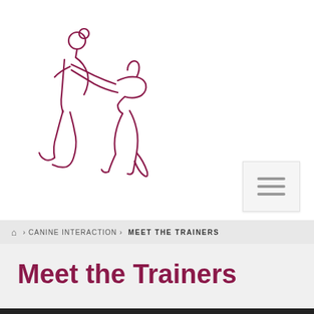[Figure (logo): Canine Interaction logo with line drawing of a person kneeling with a dog, and text 'CANINE INTERACTION' in bold maroon and grey letters]
[Figure (other): Hamburger menu button with three horizontal lines on a light grey background]
⌂ > CANINE INTERACTION > MEET THE TRAINERS
Meet the Trainers